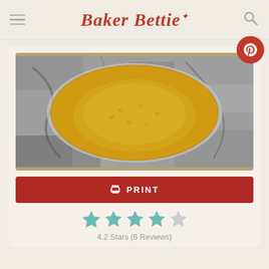Baker Bettie
[Figure (photo): Overhead view of a graham cracker pie crust in a clear glass pie dish on a marble/granite surface. The crust is golden-yellow and pressed up the sides of the dish.]
PRINT
4.2 Stars (6 Reviews)